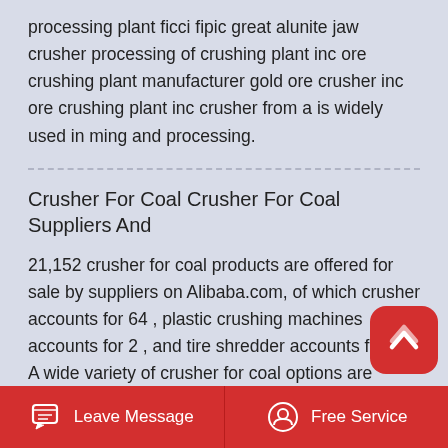processing plant ficci fipic great alunite jaw crusher processing of crushing plant inc ore crushing plant manufacturer gold ore crusher inc ore crushing plant inc crusher from a is widely used in ming and processing.
Crusher For Coal Crusher For Coal Suppliers And
21,152 crusher for coal products are offered for sale by suppliers on Alibaba.com, of which crusher accounts for 64 , plastic crushing machines accounts for 2 , and tire shredder accounts for 1 . A wide variety of crusher for coal options are available to you, such as 6 months, 3 months. You can also choose from indonesia, canada, and turkey.
Best Quality Portable Rock Crusher Local After
Portable Crusher Rock Jaw Type Crusher Low Price Portable Small Jaw Crusher Machine Plant With Diesel Engine Mining